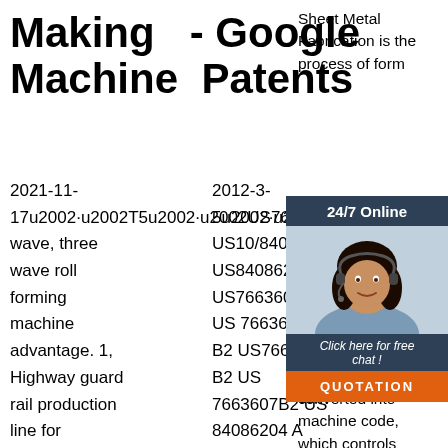Making  - Google Machine  Patents
2021-11-17u2002·u2002T5u2002·u2002US76
wave, three
wave roll
forming
machine
advantage. 1,
Highway guard
rail production
line for
producing w
beam barrier, 3
wave barrier,
2012-3-5u2002·u2002US766
US10/840,862
US84086204A
US7663607B2
US 7663607
B2 US7663607
B2 US
7663607B2 US
84086204 A
US84086204 A
US 84086204A
US 7663607
B2 US7663607
Sheet Metal Fabrication is the process of forming metal from sheet metal, punching, cutting, stamping, bending, CAD converted into machine code, which controls a machine to precisely cut
[Figure (photo): Chat widget with female customer service representative wearing headset, dark background with '24/7 Online' header, 'Click here for free chat!' text, and orange 'QUOTATION' button]
[Figure (logo): Orange 'TOP' text badge with decorative dots around it]